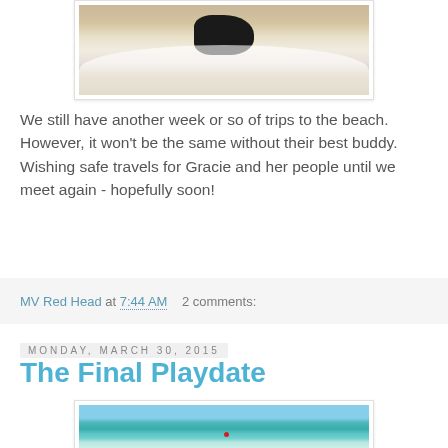[Figure (photo): Photo of dogs playing in ocean waves on a beach, dark dog visible against white surf and sandy beach]
We still have another week or so of trips to the beach. However, it won't be the same without their best buddy. Wishing safe travels for Gracie and her people until we meet again - hopefully soon!
MV Red Head at 7:44 AM   2 comments:
Monday, March 30, 2015
The Final Playdate
[Figure (photo): Photo of ocean/sea scene with turquoise water, blue sky with clouds, and a small red float or buoy visible in the water]